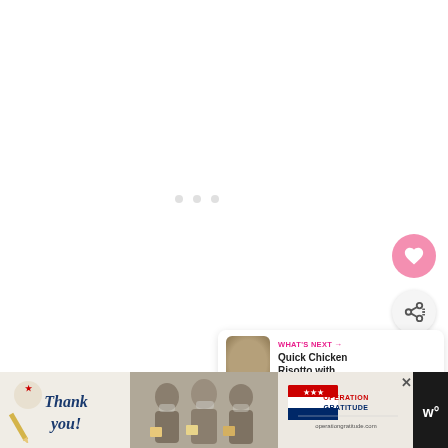[Figure (screenshot): White content area with loading indicator dots (three small gray circles)]
[Figure (infographic): Pink circular heart/favorite button]
[Figure (infographic): Light gray circular share button with share icon]
[Figure (infographic): What's Next card showing Quick Chicken Risotto with thumbnail]
[Figure (infographic): Advertisement banner at bottom: Thank you message with Operation Gratitude logo, photo of healthcare workers, close button, and Whisk W logo]